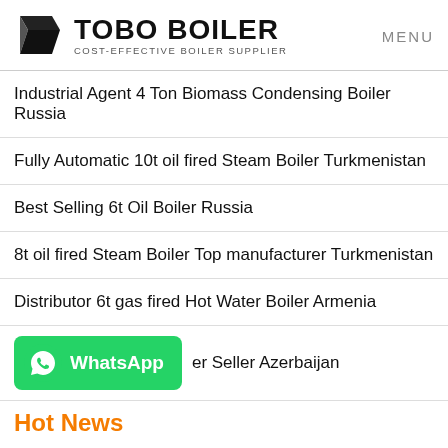[Figure (logo): TOBO BOILER logo with geometric icon, tagline COST-EFFECTIVE BOILER SUPPLIER, and MENU navigation text]
Industrial Agent 4 Ton Biomass Condensing Boiler Russia
Fully Automatic 10t oil fired Steam Boiler Turkmenistan
Best Selling 6t Oil Boiler Russia
8t oil fired Steam Boiler Top manufacturer Turkmenistan
Distributor 6t gas fired Hot Water Boiler Armenia
er Seller Azerbaijan
[Figure (logo): WhatsApp green button with phone icon and WhatsApp label]
Hot News